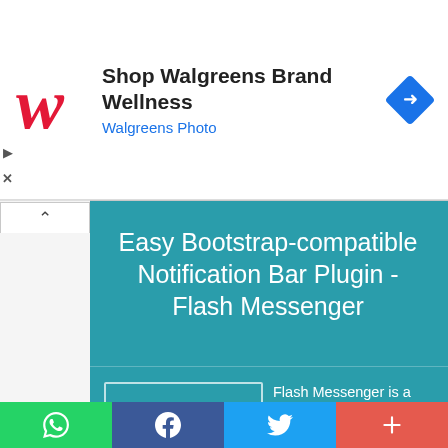[Figure (screenshot): Walgreens advertisement banner with red cursive W logo, bold text 'Shop Walgreens Brand Wellness', blue subtext 'Walgreens Photo', and a blue diamond navigation icon on the right]
Easy Bootstrap-compatible Notification Bar Plugin - Flash Messenger
Flash Messenger is a lightweight and easy-to-use jQuery plugin used to display your info/error/danger/succ...
[Figure (infographic): Social share bar with WhatsApp (green), Facebook (dark blue), Twitter (light blue), and More (red-orange) buttons]